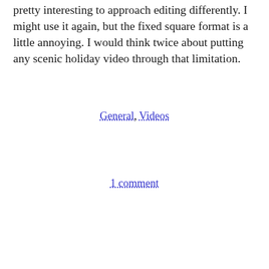pretty interesting to approach editing differently. I might use it again, but the fixed square format is a little annoying. I would think twice about putting any scenic holiday video through that limitation.
General, Videos
1 comment